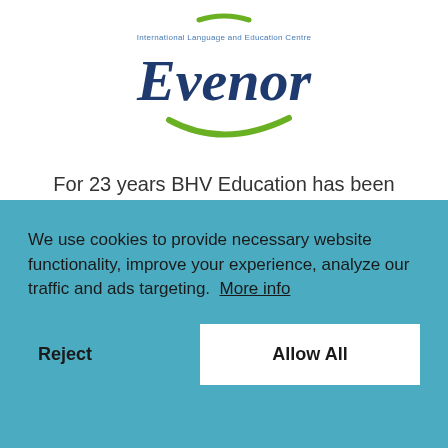[Figure (logo): Evenor International Language and Education Centre logo — italic dark blue 'Evenor' wordmark with small text above and a green swoosh beneath]
For 23 years BHV Education has been successfully cooperating with many esteemed organisations, schools, universities and embassies worldwide. To
We use cookies to provide necessary website functionality, improve your experience, analyze our traffic and ads targeting.  More info
Reject
Allow All